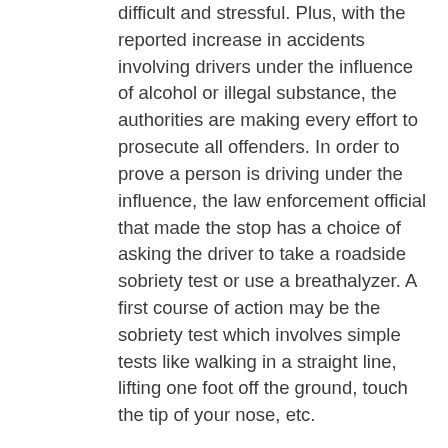difficult and stressful. Plus, with the reported increase in accidents involving drivers under the influence of alcohol or illegal substance, the authorities are making every effort to prosecute all offenders. In order to prove a person is driving under the influence, the law enforcement official that made the stop has a choice of asking the driver to take a roadside sobriety test or use a breathalyzer. A first course of action may be the sobriety test which involves simple tests like walking in a straight line, lifting one foot off the ground, touch the tip of your nose, etc.
But, these tests aren't entirely reliable and the most common option used is the breathalyzer. A field breathalyzer is quick to use and basically involves breathing air into a device that is analyzed to determine whether of not the driver has consumed too much alcohol to be on the road.
While the breath analysis is the favored method to test the concentration of blood alcohol in a roadside stop, they are nowhere near as reliable or accurate as blood